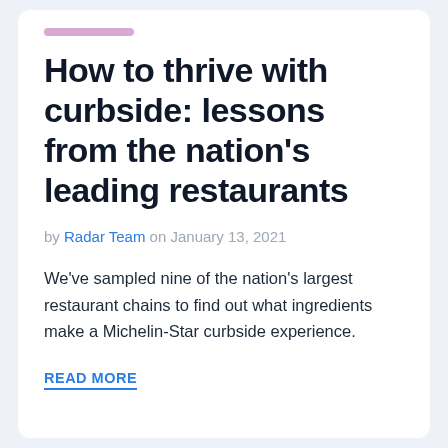How to thrive with curbside: lessons from the nation's leading restaurants
by Radar Team on January 13, 2021
We've sampled nine of the nation's largest restaurant chains to find out what ingredients make a Michelin-Star curbside experience.
READ MORE